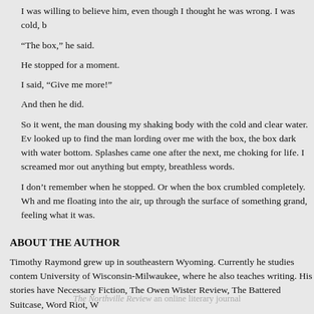I was willing to believe him, even though I thought he was wrong. I was cold, b
“The box,” he said.
He stopped for a moment.
I said, “Give me more!”
And then he did.
So it went, the man dousing my shaking body with the cold and clear water. Ev looked up to find the man lording over me with the box, the box dark with water bottom. Splashes came one after the next, me choking for life. I screamed mor out anything but empty, breathless words.
I don’t remember when he stopped. Or when the box crumbled completely. Wh and me floating into the air, up through the surface of something grand, feeling what it was.
ABOUT THE AUTHOR
Timothy Raymond grew up in southeastern Wyoming. Currently he studies contem University of Wisconsin-Milwaukee, where he also teaches writing. His stories have Necessary Fiction, The Owen Wister Review, The Battered Suitcase, Word Riot, W
The Northville Review an online literary journal